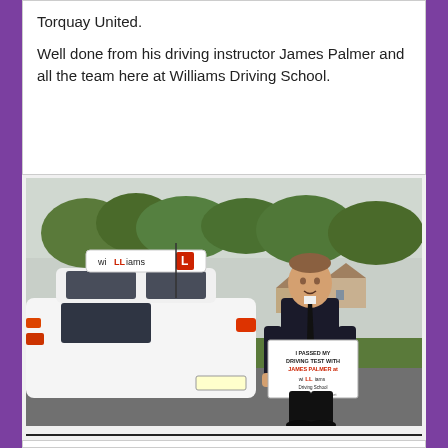Torquay United.

Well done from his driving instructor James Palmer and all the team here at Williams Driving School.
[Figure (photo): Young man in a dark suit and tie standing beside a white car with a Williams Driving School learner sign on the roof. He is holding a sign that reads 'I PASSED MY DRIVING TEST WITH JAMES PALMER at Williams Driving School'. Trees and houses visible in the background.]